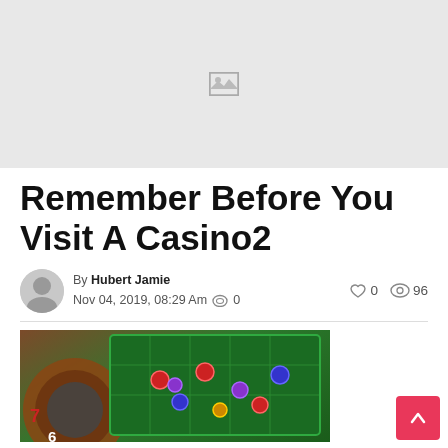[Figure (photo): Placeholder image area (gray background with broken image icon)]
Remember Before You Visit A Casino2
By Hubert Jamie
Nov 04, 2019, 08:29 Am  0
♡0  👁96
[Figure (photo): Casino roulette wheel and betting table with poker chips]